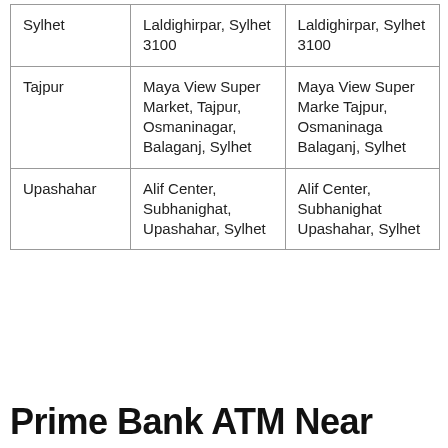| Sylhet | Laldighirpar, Sylhet 3100 | Laldighirpar, Sylhet 3100 |
| Tajpur | Maya View Super Market, Tajpur, Osmaninagar, Balaganj, Sylhet | Maya View Super Market, Tajpur, Osmaninagar, Balaganj, Sylhet |
| Upashahar | Alif Center, Subhanighat, Upashahar, Sylhet | Alif Center, Subhanighat, Upashahar, Sylhet |
Prime Bank ATM Near